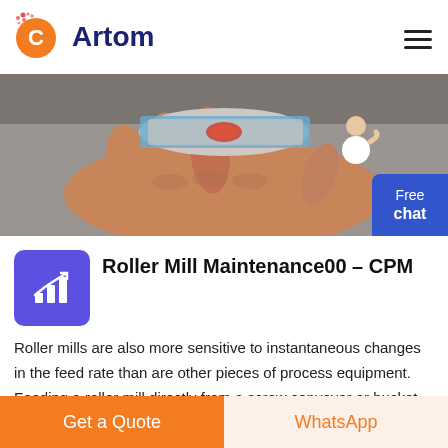Artom
[Figure (photo): A hand holding a small cylindrical object wrapped in blue and silver material with orange/red element visible, photographed outdoors on grey pavement background.]
Roller Mill Maintenance00 - CPM
Roller mills are also more sensitive to instantaneous changes in the feed rate than are other pieces of process equipment. Feeding a roller mill directly from a screw conveyor or bucket elevator will cause problems.